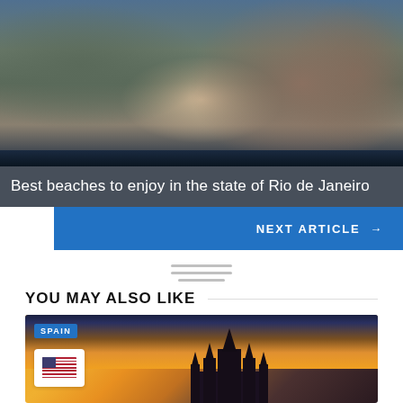[Figure (photo): Aerial view of a beach with dramatic mountain cliffs in Rio de Janeiro state, Brazil. Dark rocky mountains dominate the background, with a beach strip at the bottom and ocean.]
Best beaches to enjoy in the state of Rio de Janeiro
NEXT ARTICLE →
...
YOU MAY ALSO LIKE
[Figure (photo): Travel card featuring Spain with a gothic cathedral silhouette at sunset with orange skies. Includes a SPAIN tag and a US flag badge.]